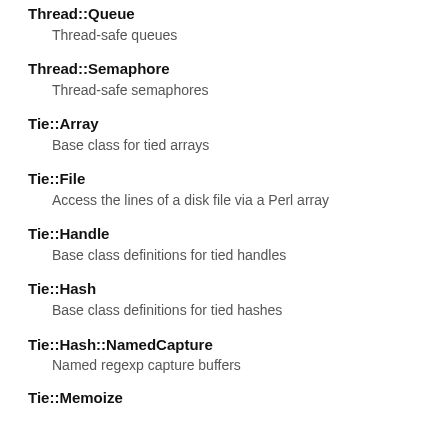Thread::Queue
Thread-safe queues
Thread::Semaphore
Thread-safe semaphores
Tie::Array
Base class for tied arrays
Tie::File
Access the lines of a disk file via a Perl array
Tie::Handle
Base class definitions for tied handles
Tie::Hash
Base class definitions for tied hashes
Tie::Hash::NamedCapture
Named regexp capture buffers
Tie::Memoize